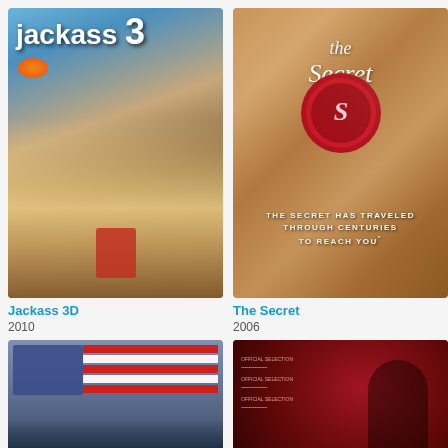[Figure (photo): Movie poster for Jackass 3D (2010) showing cast members running from explosion, 'jackass 3' text at top]
[Figure (photo): Movie poster for The Secret (2006) showing red wax seal on aged parchment background with text 'THE SECRET HAS TRAVELED THROUGH CENTURIES TO REACH YOU']
Jackass 3D
2010
The Secret
2006
[Figure (photo): Movie poster showing soldiers with American flag in background]
[Figure (photo): Movie poster with red background showing figures in dramatic pose]